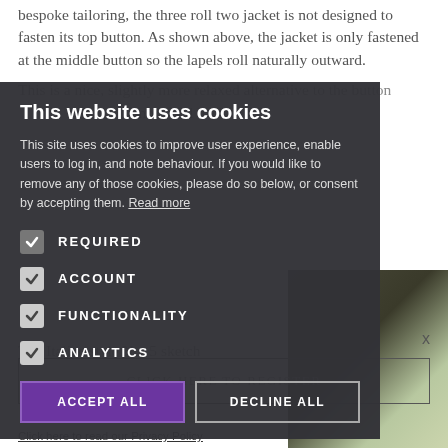bespoke tailoring, the three roll two jacket is not designed to fasten its top button. As shown above, the jacket is only fastened at the middle button so the lapels roll naturally outward.
This is a nice, slightly more relaxed alternative to the button combinations that follow, and certainly more laid back than the other styles. It can be worn ...
[Figure (screenshot): Cookie consent overlay on a website. Title: 'This website uses cookies'. Body text explaining cookie usage. Checkboxes for REQUIRED, ACCOUNT, FUNCTIONALITY, ANALYTICS (all checked). Buttons: ACCEPT ALL and DECLINE ALL.]
The Italian style No. 5 sketch
CLICK HERE TO REGISTER
x
Click here to read our Privacy Policy